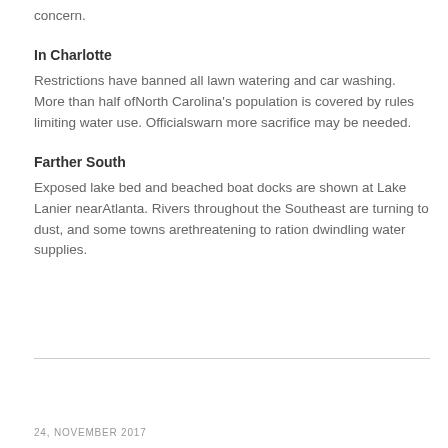concern.
In Charlotte
Restrictions have banned all lawn watering and car washing. More than half ofNorth Carolina's population is covered by rules limiting water use. Officialswarn more sacrifice may be needed.
Farther South
Exposed lake bed and beached boat docks are shown at Lake Lanier nearAtlanta. Rivers throughout the Southeast are turning to dust, and some towns arethreatening to ration dwindling water supplies.
24, NOVEMBER 2017